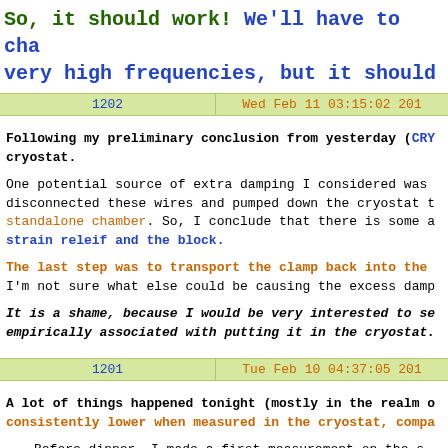So, it should work! We'll have to cha very high frequencies, but it should
1202 | Wed Feb 11 03:15:02 201
Following my preliminary conclusion from yesterday (CRY cryostat.

One potential source of extra damping I considered was disconnected these wires and pumped down the cryostat t standalone chamber. So, I conclude that there is some a strain releif and the block.

The last step was to transport the clamp back into the I'm not sure what else could be causing the excess damp

It is a shame, because I would be very interested to se empirically associated with putting it in the cryostat.
1201 | Tue Feb 10 04:37:05 201
A lot of things happened tonight (mostly in the realm o consistently lower when measured in the cryostat, compa
Before dinner, I made a first measurement on the s the highest room-temperature Q I've measured yet a
After dinner, I wanted to port this to the cryosta